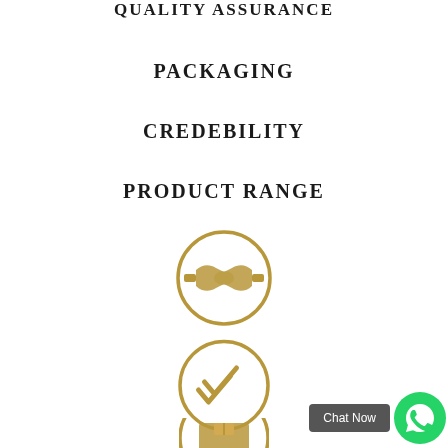QUALITY ASSURANCE
PACKAGING
CREDEBILITY
PRODUCT RANGE
[Figure (illustration): Gold circle icon with handshake symbol representing credibility/partnership]
[Figure (illustration): Gold circle icon with double checkmark symbol representing quality assurance]
[Figure (illustration): Gold circle icon with box/package symbol representing packaging (partially visible)]
[Figure (illustration): WhatsApp Chat Now button with green WhatsApp logo icon]